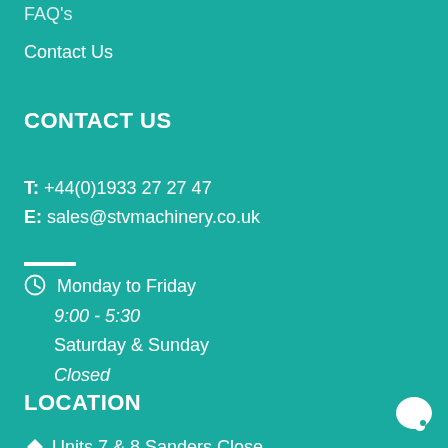FAQ's
Contact Us
CONTACT US
T: +44(0)1933 27 27 47
E: sales@stvmachinery.co.uk
Monday to Friday
9:00 - 5:30
Saturday & Sunday
Closed
LOCATION
Units 7 & 8 Sanders Close...